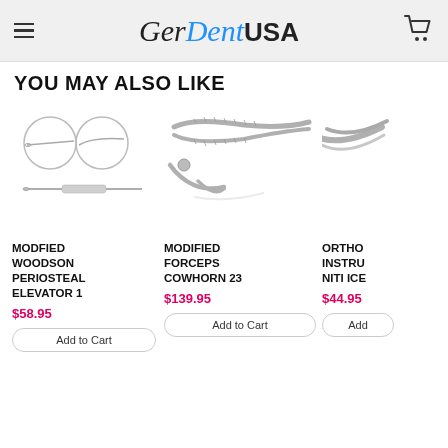GerDentUSA
YOU MAY ALSO LIKE
[Figure (photo): Modfied Woodson Periosteal Elevator 1 dental instrument with two circular detail views]
MODFIED WOODSON PERIOSTEAL ELEVATOR 1
$58.95
Add to Cart
[Figure (photo): Modified Forceps Cowhorn 23 dental extraction forceps]
MODIFIED FORCEPS COWHORN 23
$139.95
Add to Cart
[Figure (photo): Ortho instrument NITI ICE - partially visible]
ORTHO INSTRU NITI ICE
$44.95
Add